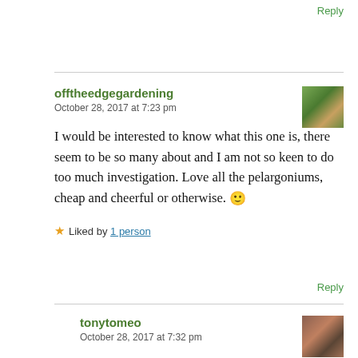Reply
offtheedgegardening
October 28, 2017 at 7:23 pm
I would be interested to know what this one is, there seem to be so many about and I am not so keen to do too much investigation. Love all the pelargoniums, cheap and cheerful or otherwise. 🙂
★ Liked by 1 person
Reply
tonytomeo
October 28, 2017 at 7:32 pm